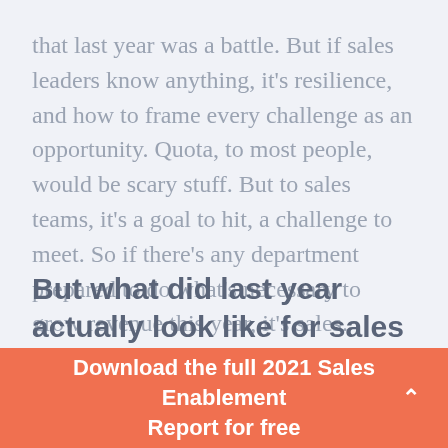that last year was a battle. But if sales leaders know anything, it's resilience, and how to frame every challenge as an opportunity. Quota, to most people, would be scary stuff. But to sales teams, it's a goal to hit, a challenge to meet. So if there's any department prepared to do what's necessary to grow revenue this year, it's sales.
But what did last year actually look like for sales leaders? To find out, we built a report
Download the full 2021 Sales Enablement Report for free